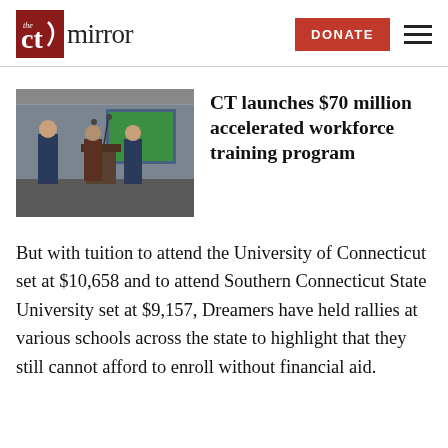the CT mirror — DONATE
CT launches $70 million accelerated workforce training program
[Figure (photo): Press conference at industrial facility with officials speaking at podium with microphones, a screen visible in the background]
But with tuition to attend the University of Connecticut set at $10,658 and to attend Southern Connecticut State University set at $9,157, Dreamers have held rallies at various schools across the state to highlight that they still cannot afford to enroll without financial aid.